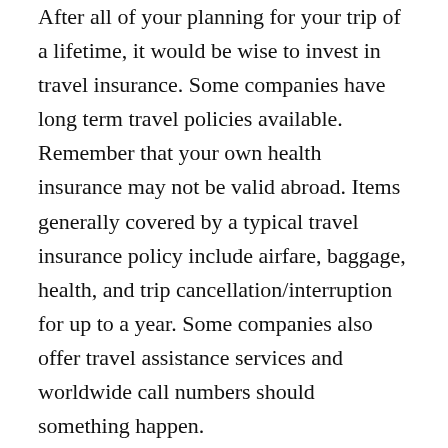After all of your planning for your trip of a lifetime, it would be wise to invest in travel insurance. Some companies have long term travel policies available. Remember that your own health insurance may not be valid abroad. Items generally covered by a typical travel insurance policy include airfare, baggage, health, and trip cancellation/interruption for up to a year. Some companies also offer travel assistance services and worldwide call numbers should something happen.
Packing for a yearlong trip does not have to be as daunting as it sounds. Whether you will be traveling with backpack or luggage, the most important thing is to pack light. Bring only the essentials, safe with the knowledge that the world